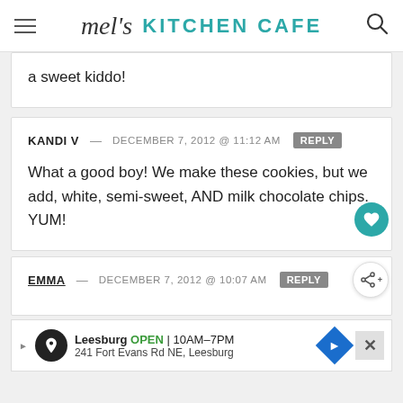mel's KITCHEN CAFE
a sweet kiddo!
KANDI V — DECEMBER 7, 2012 @ 11:12 AM [REPLY]
What a good boy! We make these cookies, but we add, white, semi-sweet, AND milk chocolate chips. YUM!
EMMA — DECEMBER 7, 2012 @ 10:07 AM [REPLY]
[Figure (screenshot): Advertisement banner for Leesburg showing OPEN 10AM-7PM, 241 Fort Evans Rd NE, Leesburg with a close button and directions icon]